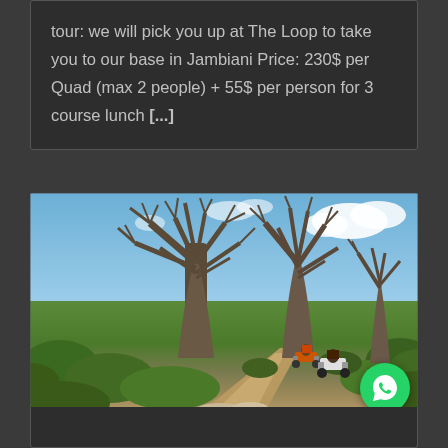tour: we will pick you up at The Loop to take you to our base in Jambiani Price: 230$ per Quad (max 2 people) + 55$ per person for 3 course lunch [...]
[Figure (photo): Outdoor photo of baobab trees against a blue sky with white clouds. In the foreground is a dirt path with two quad bikes (ATVs) being ridden through the African bush landscape. Vegetation is green and lush.]
[Figure (logo): WhatsApp green circular button/icon in the bottom right corner]